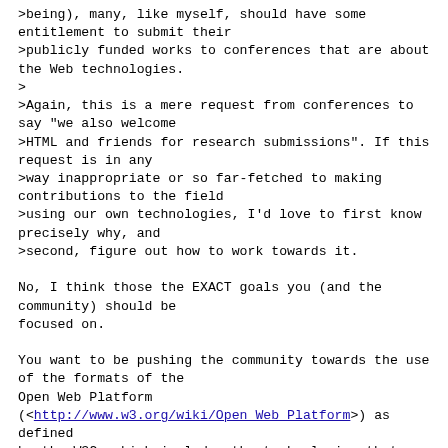>being), many, like myself, should have some entitlement to submit their
>publicly funded works to conferences that are about the Web technologies.
>
>Again, this is a mere request from conferences to say "we also welcome
>HTML and friends for research submissions". If this request is in any
>way inappropriate or so far-fetched to making contributions to the field
>using our own technologies, I'd love to first know precisely why, and
>second, figure out how to work towards it.

No, I think those the EXACT goals you (and the community) should be
focused on.

You want to be pushing the community towards the use of the formats of the
Open Web Platform
(<http://www.w3.org/wiki/Open_Web_Platform>) as defined
by the W3C, which includes the technologies that you've listed and more.
It's also something in flux, just as the web itself is.

Just trying to help you focus your goals into